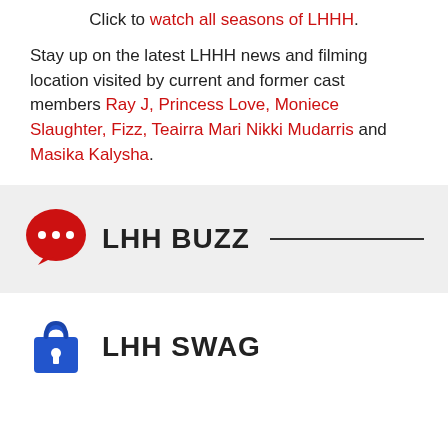Click to watch all seasons of LHHH.
Stay up on the latest LHHH news and filming location visited by current and former cast members Ray J, Princess Love, Moniece Slaughter, Fizz, Teairra Mari Nikki Mudarris and Masika Kalysha.
LHH BUZZ
[Figure (logo): Red speech bubble icon with three dots, representing LHH Buzz section]
[Figure (logo): Blue shopping bag icon representing LHH Swag section]
LHH SWAG